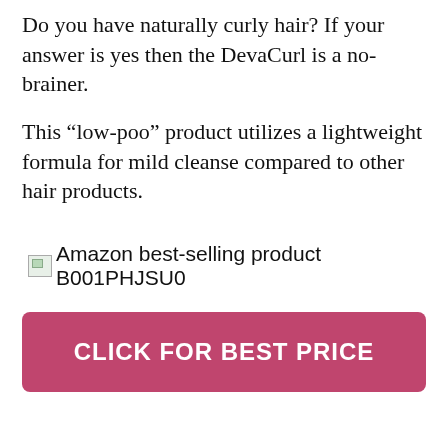Do you have naturally curly hair? If your answer is yes then the DevaCurl is a no-brainer.
This “low-poo” product utilizes a lightweight formula for mild cleanse compared to other hair products.
[Figure (other): Broken image placeholder followed by text: Amazon best-selling product B001PHJSU0]
CLICK FOR BEST PRICE